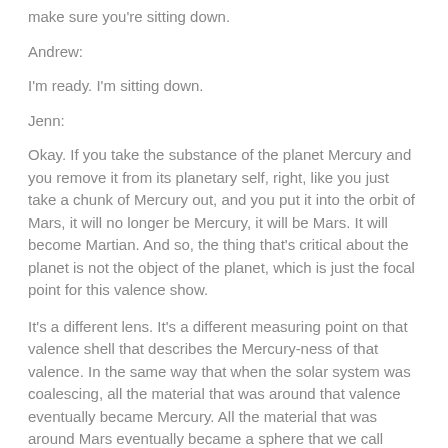make sure you're sitting down.
Andrew:
I'm ready. I'm sitting down.
Jenn:
Okay. If you take the substance of the planet Mercury and you remove it from its planetary self, right, like you just take a chunk of Mercury out, and you put it into the orbit of Mars, it will no longer be Mercury, it will be Mars. It will become Martian. And so, the thing that's critical about the planet is not the object of the planet, which is just the focal point for this valence show.
It's a different lens. It's a different measuring point on that valence shell that describes the Mercury-ness of that valence. In the same way that when the solar system was coalescing, all the material that was around that valence eventually became Mercury. All the material that was around Mars eventually became a sphere that we call Mars, but it's the valence of the orbit that makes the thing potent in a Martian